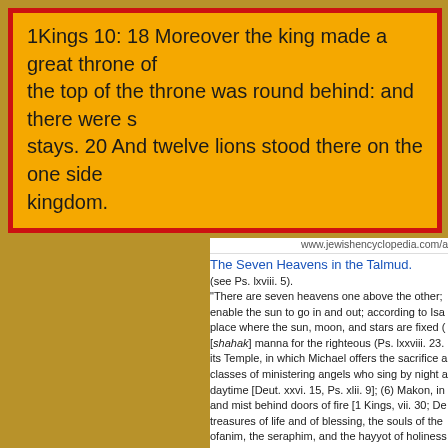1Kings 10: 18 Moreover the king made a great throne of the top of the throne was round behind: and there were s stays. 20 And twelve lions stood there on the one side kingdom.
www.jewishencyclopedia.com/a
The Seven Heavens in the Talmud.
(see Ps. lxviii. 5).
"There are seven heavens one above the other; enable the sun to go in and out; according to Isa place where the sun, moon, and stars are fixed ( [shahak] manna for the righteous (Ps. lxxviii. 23. its Temple, in which Michael offers the sacrifice a classes of ministering angels who sing by night a daytime [Deut. xxvi. 15, Ps. xlii. 9]; (6) Makon, in and mist behind doors of fire [1 Kings, vii. 30; De treasures of life and of blessing, the souls of the ofanim, the seraphim, and the hayyot of holiness enthroned the great King"
Maimonides, in his "Yad ha-Hazakah, Yesode ha
(1) Hayyot; (2) ofanim; (3) arelim [אראלים from של hayyot, who are sometimes silent [hash], and wh from the Holy One, blessed be He! they speak w elohim or godly beings; (8) bene Elohim, "sons o ishim, "manlike beings" [Dan. x. 5]. See Rapopo Jellinek, "Beitrage zur Kabbala," p. 61, note; Ba
The cabalists (Zohar, Exodus, 43) have a differe